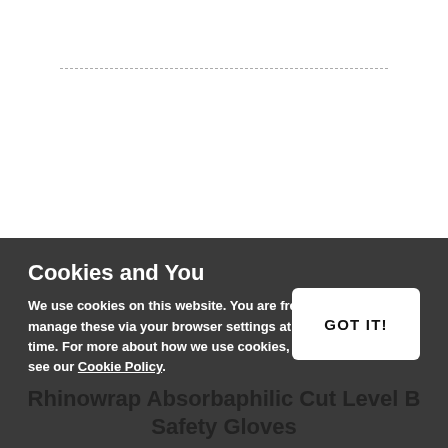Cookies and You
We use cookies on this website. You are free to manage these via your browser settings at any time. For more about how we use cookies, please see our Cookie Policy.
Rhinowrap Absorbaphilic Cut Level B Safety Gloves